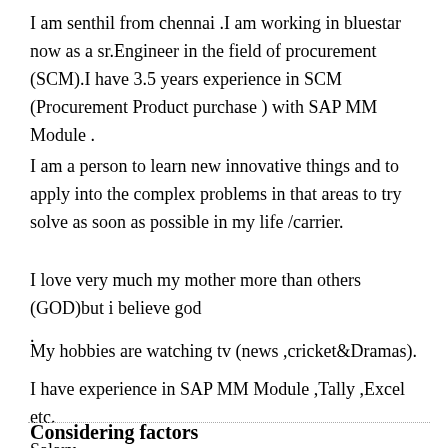I am senthil from chennai .I am working in bluestar now as a sr.Engineer in the field of procurement (SCM).I have 3.5 years experience in SCM (Procurement Product purchase ) with SAP MM Module .
I am a person to learn new innovative things and to apply into the complex problems in that areas to try solve as soon as possible in my life /carrier.
I love very much my mother more than others (GOD)but i believe god
.
My hobbies are watching tv (news ,cricket&Dramas).
I have experience in SAP MM Module ,Tally ,Excel etc.
Considering factors
Salary